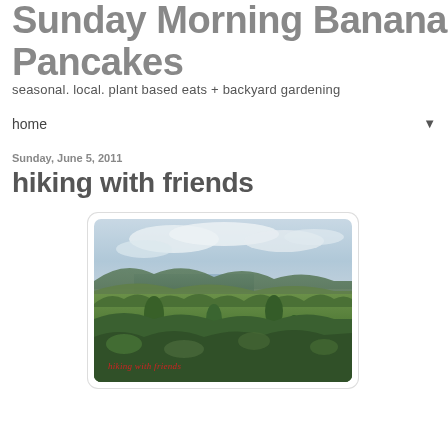Sunday Morning Banana Pancakes
seasonal. local. plant based eats + backyard gardening
home
Sunday, June 5, 2011
hiking with friends
[Figure (photo): Outdoor landscape photo showing a forested hillside view with a lake and distant mountains under a cloudy sky, with 'hiking with friends' text overlaid in red italic script at the bottom left.]